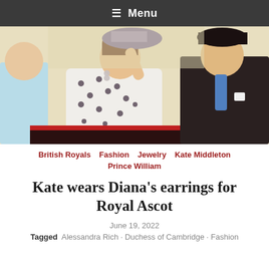≡ Menu
[Figure (photo): Kate Middleton in a white polka-dot dress holding her purple hat, smiling, seated next to Prince William in a dark suit and blue tie, both in a carriage at Royal Ascot.]
British Royals   Fashion   Jewelry   Kate Middleton
Prince William
Kate wears Diana's earrings for Royal Ascot
June 19, 2022
Tagged  Alessandra Rich · Duchess of Cambridge · Fashion